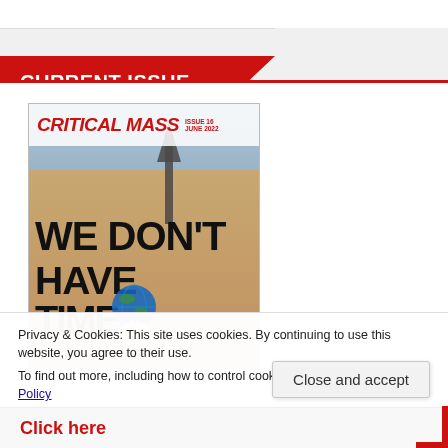CURRENT ISSUE
[Figure (photo): Magazine cover for Critical Mass Issue 16, June 2022. Shows a protest sign reading WE DON'T HAVE TIME with a globe graphic and hand, with a Gothic-style building (likely a cathedral) in the background.]
Privacy & Cookies: This site uses cookies. By continuing to use this website, you agree to their use.
To find out more, including how to control cookies, see here: Cookie Policy
Close and accept
Click here